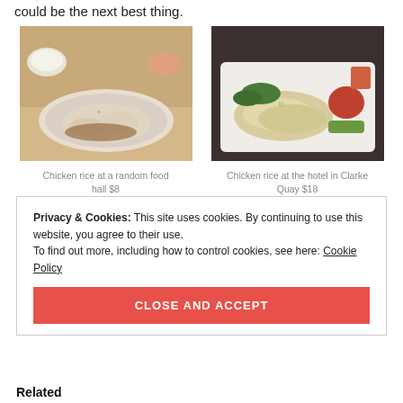could be the next best thing.
[Figure (photo): Chicken rice dish at a random food hall, served on a plate with sauce]
Chicken rice at a random food hall $8
[Figure (photo): Chicken rice dish at the hotel in Clarke Quay, served on a white plate with vegetables]
Chicken rice at the hotel in Clarke Quay $18
Privacy & Cookies: This site uses cookies. By continuing to use this website, you agree to their use.
To find out more, including how to control cookies, see here: Cookie Policy
CLOSE AND ACCEPT
Related